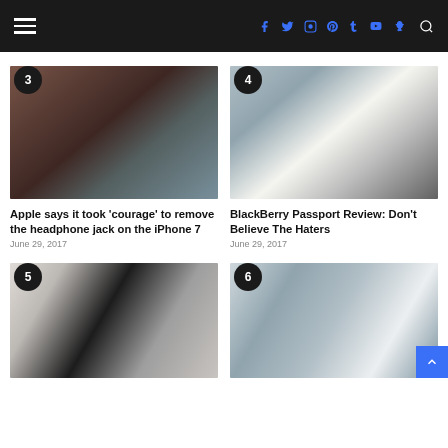Navigation header with hamburger menu, social icons (f, twitter, instagram, pinterest, tumblr, youtube, snapchat), and search icon
[Figure (photo): Photo of iPhone 7 next to an older flip phone on a wooden table, with badge number 3]
Apple says it took 'courage' to remove the headphone jack on the iPhone 7
June 29, 2017
[Figure (photo): Photo of a hand holding a BlackBerry Passport smartphone showing app grid, with badge number 4]
BlackBerry Passport Review: Don't Believe The Haters
June 29, 2017
[Figure (photo): Photo of a hand holding an LG phone in front of a Magna sign, with badge number 5]
[Figure (photo): Photo of rows of products in a vending machine, with badge number 6]